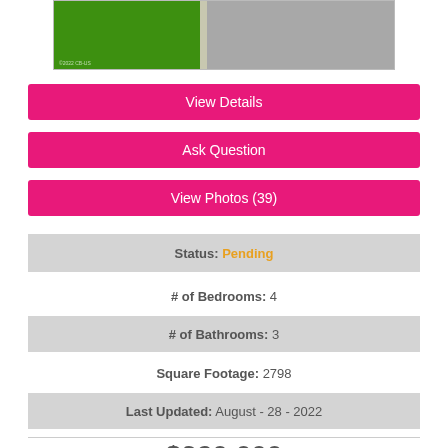[Figure (photo): Aerial or street-level photo of green grass and gray pavement/driveway]
View Details
Ask Question
View Photos (39)
Status: Pending
# of Bedrooms: 4
# of Bathrooms: 3
Square Footage: 2798
Last Updated: August - 28 - 2022
$320,000